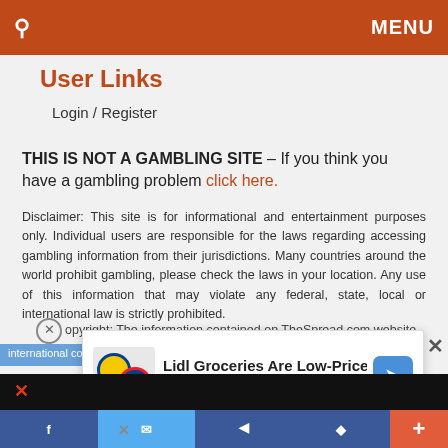🔍  MENU
User Links
Login / Register
THIS IS NOT A GAMBLING SITE – If you think you have a gambling problem click here.
Disclaimer: This site is for informational and entertainment purposes only. Individual users are responsible for the laws regarding accessing gambling information from their jurisdictions. Many countries around the world prohibit gambling, please check the laws in your location. Any use of this information that may violate any federal, state, local or international law is strictly prohibited.
Copyright: The information contained on TheSpread.com website is protected by international copyright and may not be reproduced, or redistributed in any way
[Figure (screenshot): Advertisement popup showing Lidl Groceries Are Low-Priced with Lidl branding and a blue arrow button]
Social share bar with Facebook, Twitter icons and + button